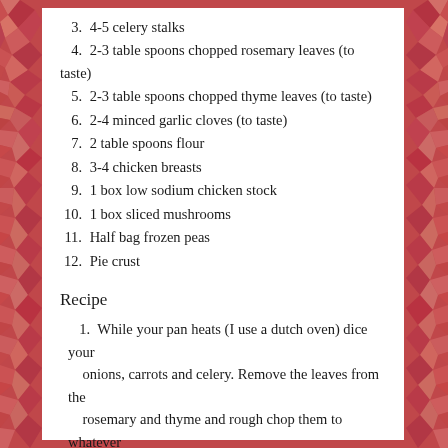3. 4-5 celery stalks
4. 2-3 table spoons chopped rosemary leaves (to taste)
5. 2-3 table spoons chopped thyme leaves (to taste)
6. 2-4 minced garlic cloves (to taste)
7. 2 table spoons flour
8. 3-4 chicken breasts
9. 1 box low sodium chicken stock
10. 1 box sliced mushrooms
11. Half bag frozen peas
12. Pie crust
Recipe
1. While your pan heats (I use a dutch oven) dice your onions, carrots and celery. Remove the leaves from the rosemary and thyme and rough chop them to whatever your tastes is. Peel and mince garlic. Cube chicken breast.